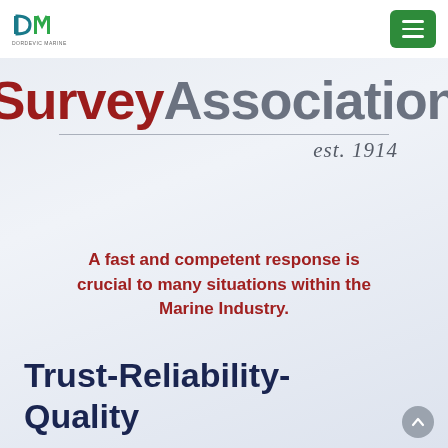[Figure (logo): DM (Dordevic Marine) logo in top-left with teal/green icon and small text below]
[Figure (other): Green hamburger menu button in top-right corner]
SurveyAssociation est. 1914
A fast and competent response is crucial to many situations within the Marine Industry.
Trust-Reliability-Quality